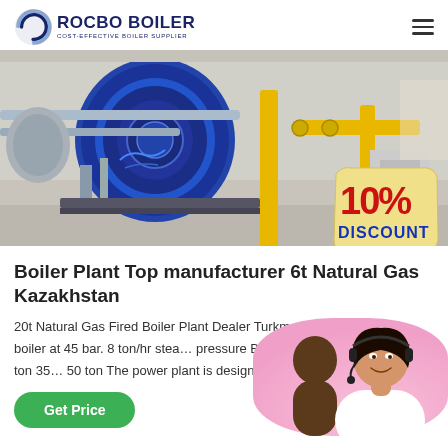[Figure (logo): Rocbo Boiler logo with circular arc graphic and text 'ROCBO BOILER - COST-EFFECTIVE BOILER SUPPLIER']
[Figure (photo): Industrial boiler plant interior with large blue cylindrical boilers, yellow gas pipes, and industrial equipment. A 10% DISCOUNT badge overlay in bottom right.]
Boiler Plant Top manufacturer 6t Natural Gas Kazakhstan
20t Natural Gas Fired Boiler Plant Dealer Turkm… gas fuel 20 ton hr boiler at 45 bar. 8 ton/hr stea… pressure Biomass Fired Boiler 20 ton 25 ton 35… 50 ton The power plant is designed to burn 34 ton…
[Figure (photo): Customer service representative woman with headset smiling, with another person in background]
Get Price